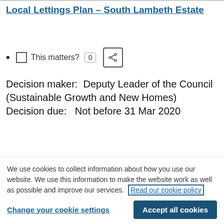Local Lettings Plan – South Lambeth Estate
This matters? 0
Decision maker:  Deputy Leader of the Council (Sustainable Growth and New Homes)
Decision due:   Not before 31 Mar 2020
We use cookies to collect information about how you use our website. We use this information to make the website work as well as possible and improve our services.  Read our cookie policy
Change your cookie settings
Accept all cookies